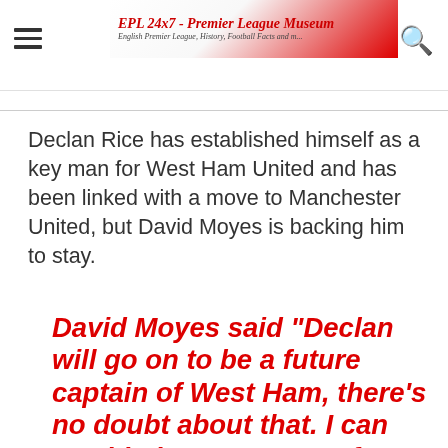EPL 24x7 - Premier League Museum
Declan Rice has established himself as a key man for West Ham United and has been linked with a move to Manchester United, but David Moyes is backing him to stay.
David Moyes said “Declan will go on to be a future captain of West Ham, there’s no doubt about that. I can see big improvements from when I left. He’s now someone who is physically much better: he’s much quicker, much…